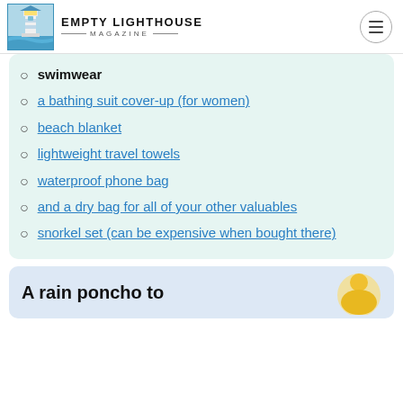Empty Lighthouse Magazine
swimwear
a bathing suit cover-up (for women)
beach blanket
lightweight travel towels
waterproof phone bag
and a dry bag for all of your other valuables
snorkel set (can be expensive when bought there)
A rain poncho to